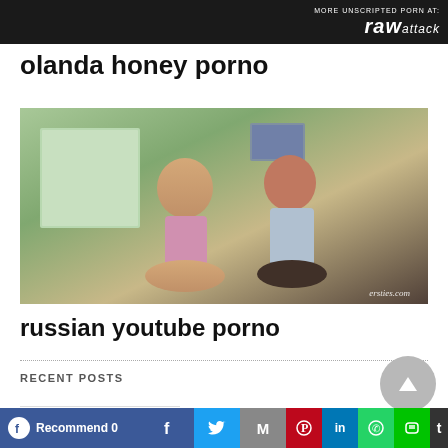[Figure (screenshot): Top banner image strip with dark background and RAW ATTACK logo/watermark in top right corner]
olanda honey porno
[Figure (photo): Two women sitting on a bed in a room with a window showing green trees. A watermark reads ersties.com in bottom right.]
russian youtube porno
RECENT POSTS
Recommend 0  [Facebook] [Twitter] [Gmail] [Pinterest] [LinkedIn] [WhatsApp] [Line] [more]